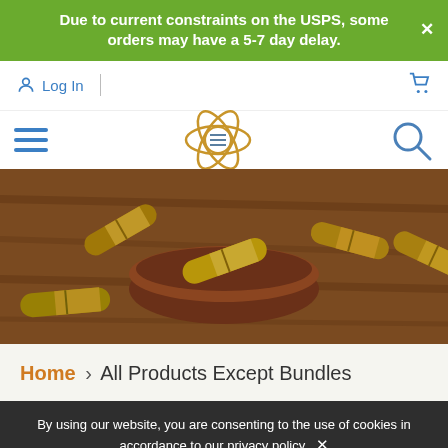Due to current constraints on the USPS, some orders may have a 5-7 day delay.
Log In
[Figure (screenshot): Hero image showing herbal supplement capsules/pills in a wooden bowl on a wooden surface]
Home › All Products Except Bundles
By using our website, you are consenting to the use of cookies in accordance to our privacy policy. ✕